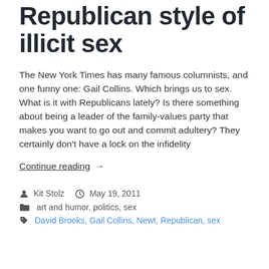Republican style of illicit sex
The New York Times has many famous columnists, and one funny one: Gail Collins. Which brings us to sex. What is it with Republicans lately? Is there something about being a leader of the family-values party that makes you want to go out and commit adultery? They certainly don't have a lock on the infidelity
Continue reading →
Kit Stolz   May 19, 2011
art and humor, politics, sex
David Brooks, Gail Collins, Newt, Republican, sex